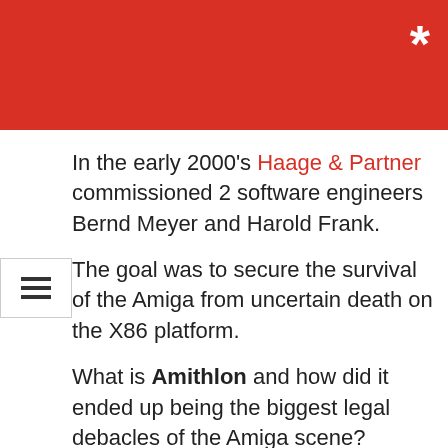[Figure (other): Red header bar with white asterisk (*) in the top-right corner]
In the early 2000's Haage & Partner commissioned 2 software engineers Bernd Meyer and Harold Frank.
The goal was to secure the survival of the Amiga from uncertain death on the X86 platform.
What is Amithlon and how did it ended up being the biggest legal debacles of the Amiga scene?
It's a Linux and latter QNX kernel based emulator. The beauty of Amithlon comes from the fact that the software had direct hardware